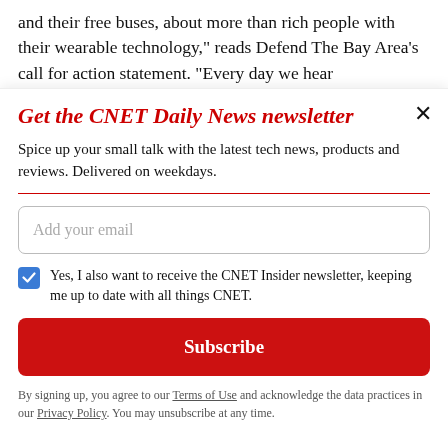and their free buses, about more than rich people with their wearable technology," reads Defend The Bay Area's call for action statement. "Every day we hear
Get the CNET Daily News newsletter
Spice up your small talk with the latest tech news, products and reviews. Delivered on weekdays.
Add your email
Yes, I also want to receive the CNET Insider newsletter, keeping me up to date with all things CNET.
Subscribe
By signing up, you agree to our Terms of Use and acknowledge the data practices in our Privacy Policy. You may unsubscribe at any time.